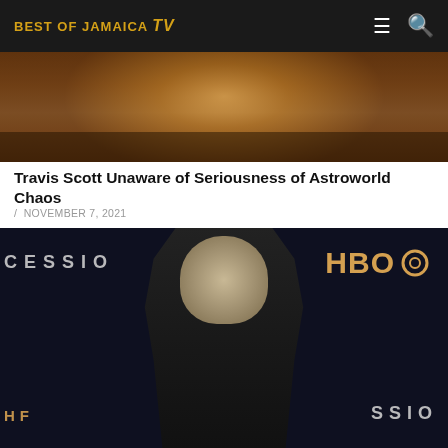BEST OF JAMAICA TV
[Figure (photo): Cropped photo of a person laughing, upper portion only visible, dark background]
Travis Scott Unaware of Seriousness of Astroworld Chaos
/ NOVEMBER 7, 2021
[Figure (photo): Man in black shirt standing in front of HBO Succession backdrop at a press event]